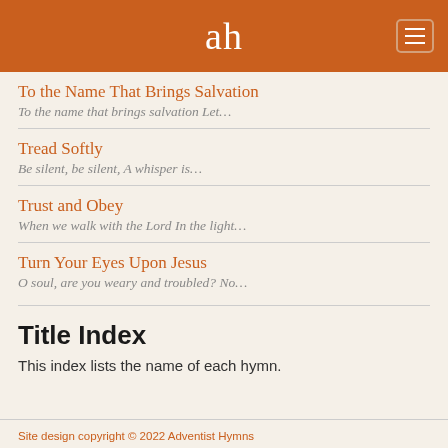ah
To the Name That Brings Salvation
To the name that brings salvation Let…
Tread Softly
Be silent, be silent, A whisper is…
Trust and Obey
When we walk with the Lord In the light…
Turn Your Eyes Upon Jesus
O soul, are you weary and troubled? No…
Title Index
This index lists the name of each hymn.
Site design copyright © 2022 Adventist Hymns